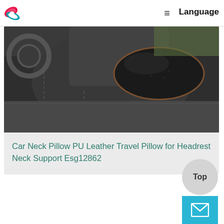[Figure (logo): Colorful spiral/swirl logo in red, pink, and teal/blue on white background]
≡
Language
[Figure (photo): Car neck pillow resting on a dark leather car headrest/seat, viewed from behind, showing the black PU leather pillow with grey contrast stitching]
Car Neck Pillow PU Leather Travel Pillow for Headrest Neck Support Esg12862
Top
[Figure (illustration): White envelope/mail icon on cyan/teal blue square button]